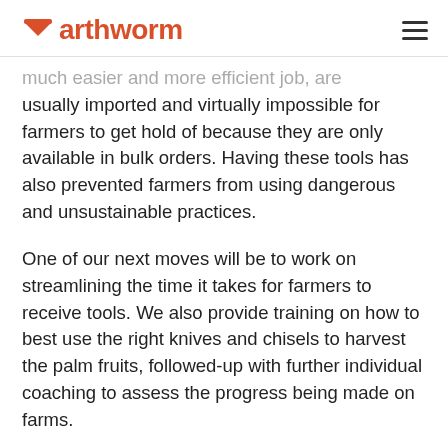Earthworm
much easier and more efficient job, are usually imported and virtually impossible for farmers to get hold of because they are only available in bulk orders. Having these tools has also prevented farmers from using dangerous and unsustainable practices.
One of our next moves will be to work on streamlining the time it takes for farmers to receive tools. We also provide training on how to best use the right knives and chisels to harvest the palm fruits, followed-up with further individual coaching to assess the progress being made on farms.
Charles and Grace go to each farmer's plot to